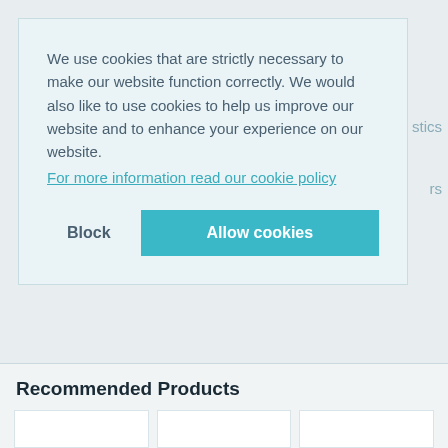We use cookies that are strictly necessary to make our website function correctly. We would also like to use cookies to help us improve our website and to enhance your experience on our website.
For more information read our cookie policy
Block
Allow cookies
stics
rs
Recommended Products